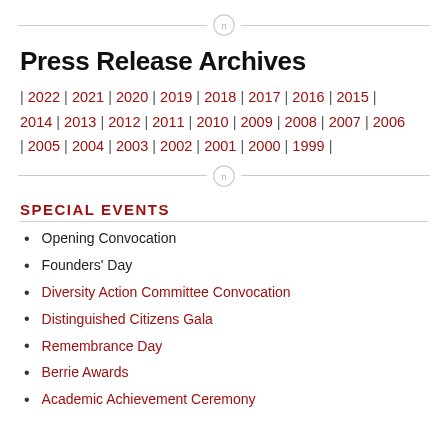Press Release Archives
| 2022 | 2021 | 2020 | 2019 | 2018 | 2017 | 2016 | 2015 | 2014 | 2013 | 2012 | 2011 | 2010 | 2009 | 2008 | 2007 | 2006 | 2005 | 2004 | 2003 | 2002 | 2001 | 2000 | 1999 |
SPECIAL EVENTS
Opening Convocation
Founders' Day
Diversity Action Committee Convocation
Distinguished Citizens Gala
Remembrance Day
Berrie Awards
Academic Achievement Ceremony